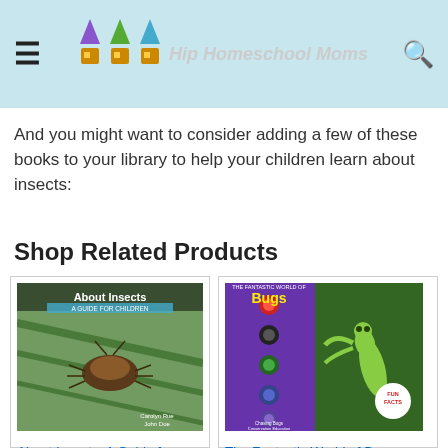Hip Homeschool Moms
And you might want to consider adding a few of these books to your library to help your children learn about insects:
Shop Related Products
[Figure (screenshot): Book cover: About Insects: A Guide for Children showing a beetle on green leaf]
About Insects: A Guide for Children
$7.95 ✓prime (21 reviews, ~3.5 stars)
[Figure (screenshot): Book cover: The Fantastic World of Bugs - Children's Insect ... showing a praying mantis on purple background]
The Fantastic World of Bugs - Children's Insect ...
$14.95 $18.95 ✓prime (48 reviews, ~3.5 stars)